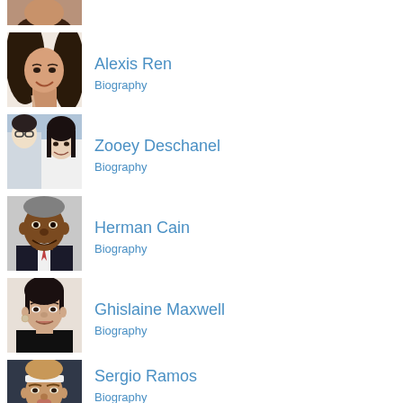[Figure (photo): Partial photo of a person with dark hair, cropped at top]
[Figure (photo): Photo of Alexis Ren, a young woman smiling with long dark hair]
Alexis Ren
Biography
[Figure (photo): Photo of Zooey Deschanel with a man, both in light clothing]
Zooey Deschanel
Biography
[Figure (photo): Photo of Herman Cain, an older Black man in a suit]
Herman Cain
Biography
[Figure (photo): Photo of Ghislaine Maxwell, a woman with short dark hair in black clothing]
Ghislaine Maxwell
Biography
[Figure (photo): Photo of Sergio Ramos, a soccer player with a headband, mouth open]
Sergio Ramos
Biography